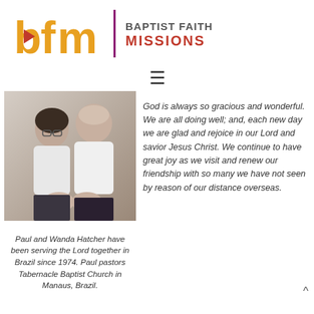[Figure (logo): Baptist Faith Missions logo with 'bfm' in gold and a red arrow, vertical purple divider, and text 'BAPTIST FAITH MISSIONS' in grey and red]
[Figure (photo): Photo of Paul and Wanda Hatcher, a couple in white shirts, sitting together]
Paul and Wanda Hatcher have been serving the Lord together in Brazil since 1974. Paul pastors Tabernacle Baptist Church in Manaus, Brazil.
God is always so gracious and wonderful. We are all doing well; and, each new day we are glad and rejoice in our Lord and savior Jesus Christ. We continue to have great joy as we visit and renew our friendship with so many we have not seen by reason of our distance overseas.